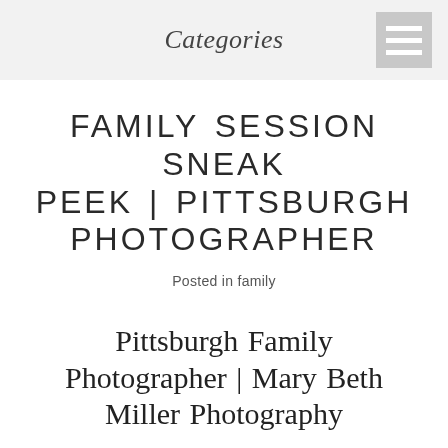Categories
FAMILY SESSION SNEAK PEEK | PITTSBURGH PHOTOGRAPHER
Posted in family
Pittsburgh Family Photographer | Mary Beth Miller Photography
… … … … … … …..